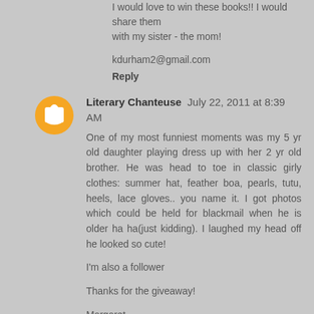I would love to win these books!! I would share them with my sister - the mom!
kdurham2@gmail.com
Reply
Literary Chanteuse  July 22, 2011 at 8:39 AM
One of my most funniest moments was my 5 yr old daughter playing dress up with her 2 yr old brother. He was head to toe in classic girly clothes: summer hat, feather boa, pearls, tutu, heels, lace gloves.. you name it. I got photos which could be held for blackmail when he is older ha ha(just kidding). I laughed my head off he looked so cute!
I'm also a follower
Thanks for the giveaway!
Margaret
singitm@hotmail.com